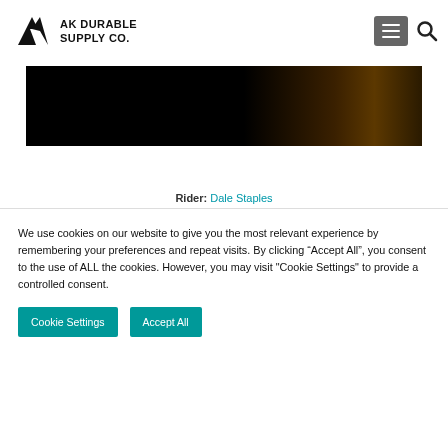AK DURABLE SUPPLY CO.
[Figure (photo): Dark/black hero image banner with a subtle warm gradient on the right side]
Rider: Dale Staples
We use cookies on our website to give you the most relevant experience by remembering your preferences and repeat visits. By clicking “Accept All”, you consent to the use of ALL the cookies. However, you may visit "Cookie Settings" to provide a controlled consent.
Cookie Settings  Accept All